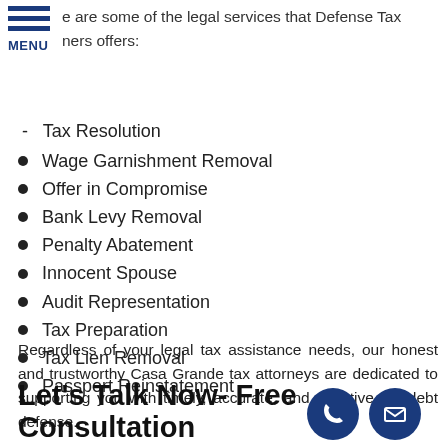e are some of the legal services that Defense Tax ners offers:
Tax Resolution
Wage Garnishment Removal
Offer in Compromise
Bank Levy Removal
Penalty Abatement
Innocent Spouse
Audit Representation
Tax Preparation
Tax Lien Removal
Passport Reinstatement
Regardless of your legal tax assistance needs, our honest and trustworthy Casa Grande tax attorneys are dedicated to supporting you with timely, accurate, and effective tax debt defense.
Let's Talk Now- Free Consultation